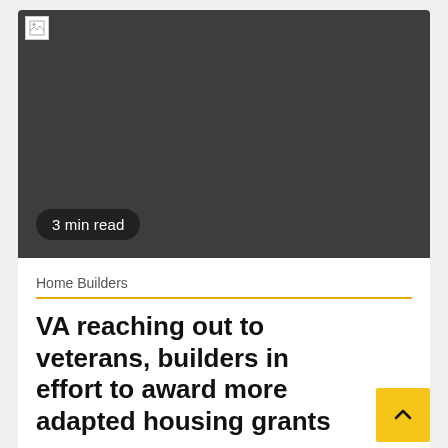[Figure (photo): Large dark/placeholder image area with a broken image icon in the top-left corner]
3 min read
Home Builders
VA reaching out to veterans, builders in effort to award more adapted housing grants